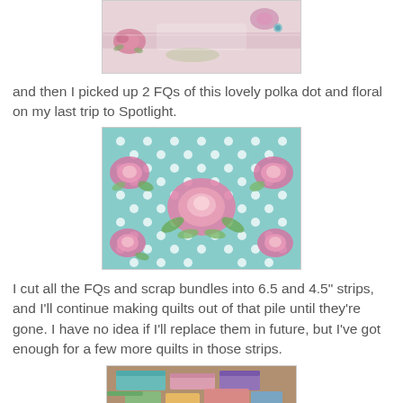[Figure (photo): Close-up of pink floral and white fabric with roses pattern, partially visible at top of page]
and then I picked up 2 FQs of this lovely polka dot and floral on my last trip to Spotlight.
[Figure (photo): Teal/mint polka dot fabric with pink rose floral pattern on a light background]
I cut all the FQs and scrap bundles into 6.5 and 4.5" strips, and I'll continue making quilts out of that pile until they're gone.  I have no idea if I'll replace them in future, but I've got enough for a few more quilts in those strips.
[Figure (photo): Stacked fabric strips in various colors including teal, pink, purple on a surface, partially visible at bottom]